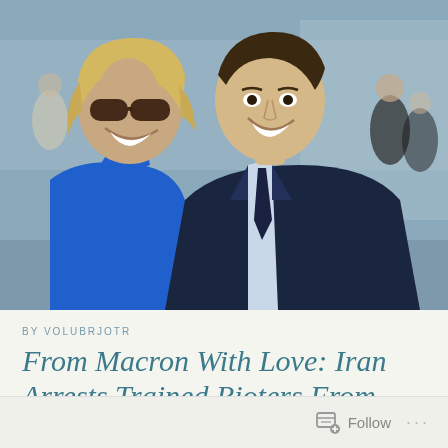[Figure (photo): A smiling woman with blonde hair wearing sunglasses and a bright blue sleeveless top, arm-in-arm with a smiling man in a dark navy suit and light blue shirt with a dark tie. They are outdoors near a grand building. Other people visible in background.]
BY VOLUBRJOTR
From Macron With Love: Iran Arrests Trained Rioters From France
Follow ...